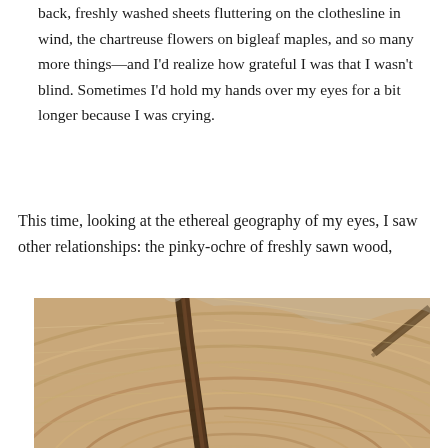back, freshly washed sheets fluttering on the clothesline in wind, the chartreuse flowers on bigleaf maples, and so many more things—and I'd realize how grateful I was that I wasn't blind. Sometimes I'd hold my hands over my eyes for a bit longer because I was crying.
This time, looking at the ethereal geography of my eyes, I saw other relationships: the pinky-ochre of freshly sawn wood,
[Figure (photo): Close-up photograph of a freshly sawn tree cross-section showing wood grain rings and annual growth rings in pinky-ochre and tan tones, with a dark crack running through the center.]